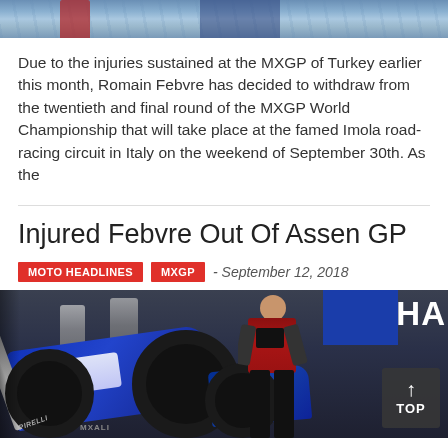[Figure (photo): Top portion of a motocross/racing scene photo, showing the top edge of the image with blue and metallic tones.]
Due to the injuries sustained at the MXGP of Turkey earlier this month, Romain Febvre has decided to withdraw from the twentieth and final round of the MXGP World Championship that will take place at the famed Imola road-racing circuit in Italy on the weekend of September 30th. As the
Injured Febvre Out Of Assen GP
MOTO HEADLINES   MXGP   - September 12, 2018
[Figure (photo): Photo of a blue Yamaha motocross bike with a person in a red jacket standing next to it indoors, with a 'HA' (Yamaha) banner visible in the background.]